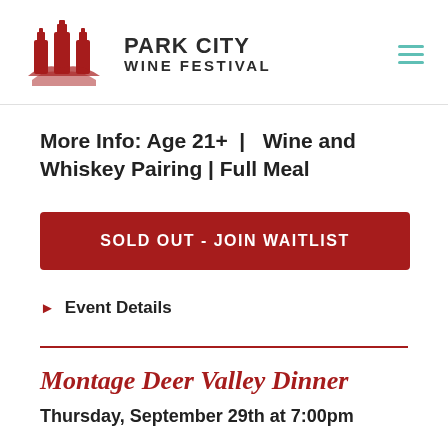Park City Wine Festival
More Info: Age 21+  |  Wine and Whiskey Pairing | Full Meal
SOLD OUT - JOIN WAITLIST
▶ Event Details
Montage Deer Valley Dinner
Thursday, September 29th at 7:00pm